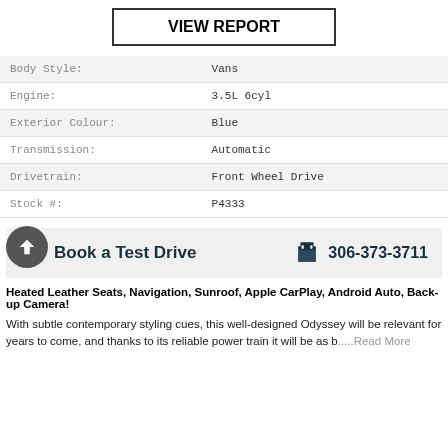VIEW REPORT
| Label | Value |
| --- | --- |
| Body Style: | Vans |
| Engine: | 3.5L 6cyl |
| Exterior Colour: | Blue |
| Transmission: | Automatic |
| Drivetrain: | Front Wheel Drive |
| Stock #: | P4333 |
Book a Test Drive   306-373-3711
Heated Leather Seats, Navigation, Sunroof, Apple CarPlay, Android Auto, Back-up Camera!
With subtle contemporary styling cues, this well-designed Odyssey will be relevant for years to come, and thanks to its reliable power train it will be as b.....Read More